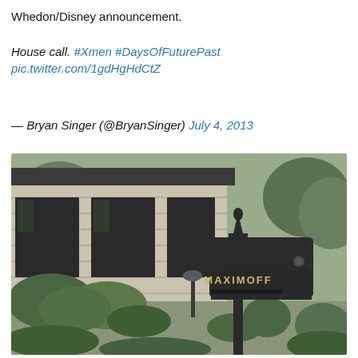Whedon/Disney announcement.

House call. #Xmen #DaysOfFuturePast
pic.twitter.com/1gdHgHdCtZ

— Bryan Singer (@BryanSinger) July 4, 2013
[Figure (photo): Outdoor photo showing a modern stone-clad house with large dark windows and lush green shrubbery. In the foreground is a dark mailbox with 'MAXIMOFF' written on it in gold letters, on a post.]